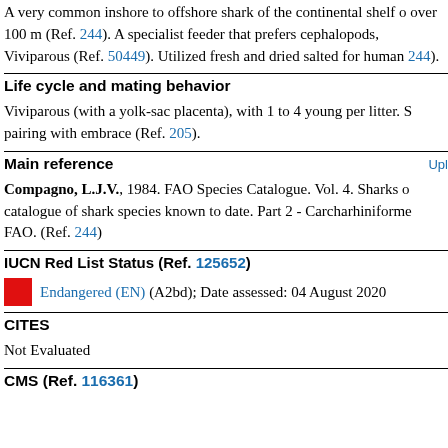A very common inshore to offshore shark of the continental shelf o over 100 m (Ref. 244). A specialist feeder that prefers cephalopods, Viviparous (Ref. 50449). Utilized fresh and dried salted for human 244).
Life cycle and mating behavior
Viviparous (with a yolk-sac placenta), with 1 to 4 young per litter. S pairing with embrace (Ref. 205).
Main reference
Compagno, L.J.V., 1984. FAO Species Catalogue. Vol. 4. Sharks o catalogue of shark species known to date. Part 2 - Carcharhiniforme FAO. (Ref. 244)
IUCN Red List Status (Ref. 125652)
Endangered (EN) (A2bd); Date assessed: 04 August 2020
CITES
Not Evaluated
CMS (Ref. 116361)